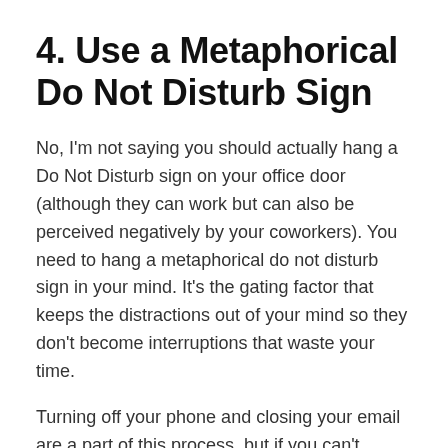4. Use a Metaphorical Do Not Disturb Sign
No, I'm not saying you should actually hang a Do Not Disturb sign on your office door (although they can work but can also be perceived negatively by your coworkers). You need to hang a metaphorical do not disturb sign in your mind. It's the gating factor that keeps the distractions out of your mind so they don't become interruptions that waste your time.
Turning off your phone and closing your email are a part of this process, but if you can't commit to ignoring interruptions rather than prioritizing them in your mind, your efforts to recoup your time are for naught.
5. Create a Culture that